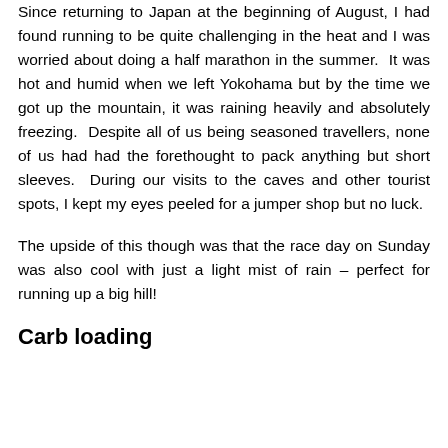Since returning to Japan at the beginning of August, I had found running to be quite challenging in the heat and I was worried about doing a half marathon in the summer. It was hot and humid when we left Yokohama but by the time we got up the mountain, it was raining heavily and absolutely freezing. Despite all of us being seasoned travellers, none of us had had the forethought to pack anything but short sleeves. During our visits to the caves and other tourist spots, I kept my eyes peeled for a jumper shop but no luck.
The upside of this though was that the race day on Sunday was also cool with just a light mist of rain – perfect for running up a big hill!
Carb loading